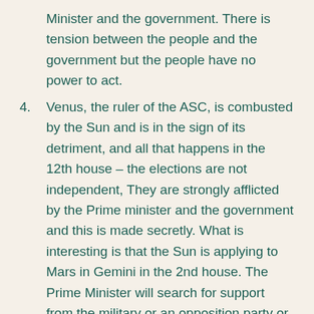Minister and the government. There is tension between the people and the government but the people have no power to act.
4. Venus, the ruler of the ASC, is combusted by the Sun and is in the sign of its detriment, and all that happens in the 12th house – the elections are not independent, They are strongly afflicted by the Prime minister and the government and this is made secretly. What is interesting is that the Sun is applying to Mars in Gemini in the 2nd house. The Prime Minister will search for support from the military or an opposition party or a political alliance. With this party or